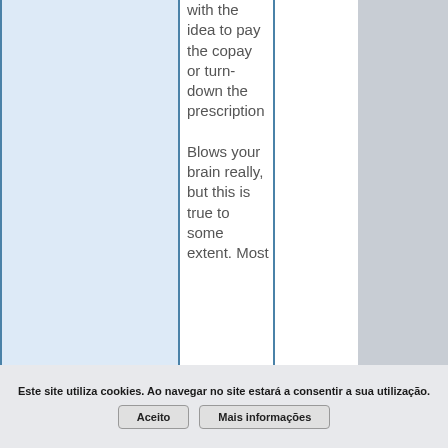with the idea to pay the copay or turn-down the prescription

Blows your brain really, but this is true to some extent. Most
Este site utiliza cookies. Ao navegar no site estará a consentir a sua utilização.